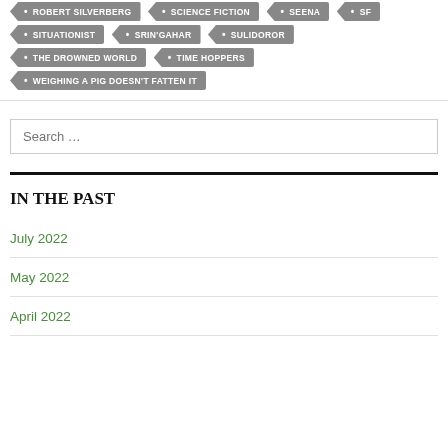ROBERT SILVERBERG
SCIENCE FICTION
SEENA
SF
SITUATIONIST
SRIN'GAHAR
SULIDOROR
THE DROWNED WORLD
TIME HOPPERS
WEIGHING A PIG DOESN'T FATTEN IT
Search …
IN THE PAST
July 2022
May 2022
April 2022